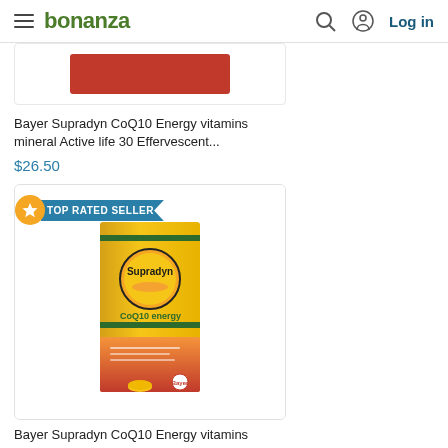bonanza | Log in
[Figure (photo): Partial product image showing a red/orange product (Bayer Supradyn CoQ10) cut off at top]
Bayer Supradyn CoQ10 Energy vitamins mineral Active life 30 Effervescent...
$26.50
[Figure (photo): Bayer Supradyn CoQ10 Energy vitamins minerals Active life supplement box - yellow/orange packaging with Supradyn branding, CoQ10 energy label, green stripes. Top Rated Seller badge shown.]
Bayer Supradyn CoQ10 Energy vitamins minerals Active life supplement 60 ...
$30.50